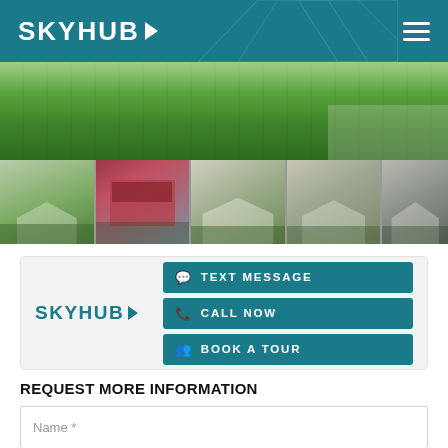SKYHUB
[Figure (photo): Hero image showing green grass lawn aerial view]
[Figure (photo): Strip of five property thumbnail photos showing exterior views of homes and a sign]
[Figure (logo): SKYHUB logo with teal text and arrow, contact card with TEXT MESSAGE, CALL NOW, BOOK A TOUR buttons]
REQUEST MORE INFORMATION
Name *
Phone *
Email *